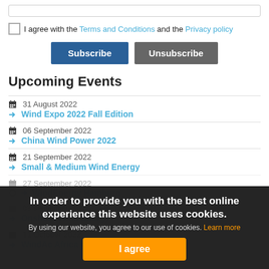I agree with the Terms and Conditions and the Privacy policy
Subscribe | Unsubscribe
Upcoming Events
31 August 2022 — Wind Expo 2022 Fall Edition
06 September 2022 — China Wind Power 2022
21 September 2022 — Small & Medium Wind Energy
27 September 2022 — WindEnergy Hamburg (faded)
Onshore Wind Energy (faded)
11 October 2022 — WindAc Africa Conference 2022 (faded)
In order to provide you with the best online experience this website uses cookies. By using our website, you agree to our use of cookies. Learn more
I agree